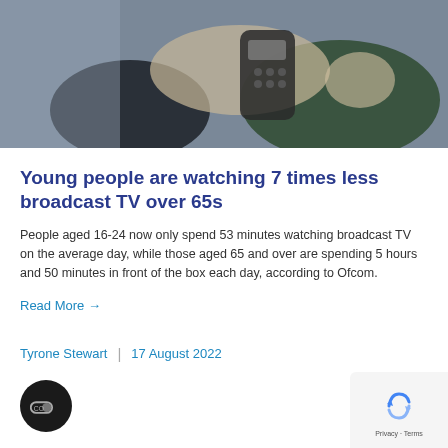[Figure (photo): Two people sitting on a sofa, one holding a TV remote control, wearing casual clothing]
Young people are watching 7 times less broadcast TV over 65s
People aged 16-24 now only spend 53 minutes watching broadcast TV on the average day, while those aged 65 and over are spending 5 hours and 50 minutes in front of the box each day, according to Ofcom.
Read More →
Tyrone Stewart  |  17 August 2022